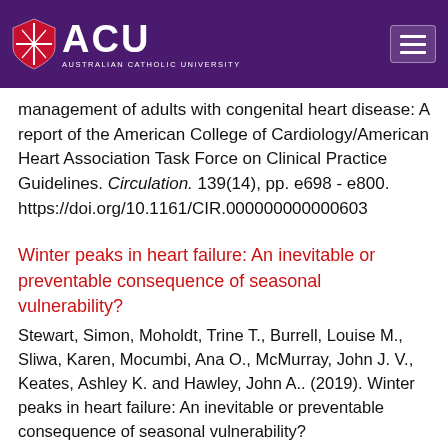[Figure (logo): Australian Catholic University (ACU) logo and navigation header bar with purple background, ACU shield logo, ACU text, and hamburger menu button]
management of adults with congenital heart disease: A report of the American College of Cardiology/American Heart Association Task Force on Clinical Practice Guidelines. Circulation. 139(14), pp. e698 - e800. https://doi.org/10.1161/CIR.000000000000603
Winter peaks in heart failure: An inevitable or preventable consequence of seasonal vulnerability?
Stewart, Simon, Moholdt, Trine T., Burrell, Louise M., Sliwa, Karen, Mocumbi, Ana O., McMurray, John J. V., Keates, Ashley K. and Hawley, John A.. (2019). Winter peaks in heart failure: An inevitable or preventable consequence of seasonal vulnerability?